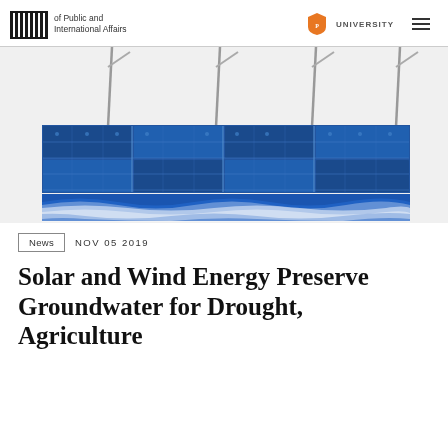of Public and International Affairs | UNIVERSITY
[Figure (photo): Solar panels arranged in rows with metal support poles above, and a stylized blue wave graphic below]
News   NOV 05 2019
Solar and Wind Energy Preserve Groundwater for Drought, Agriculture